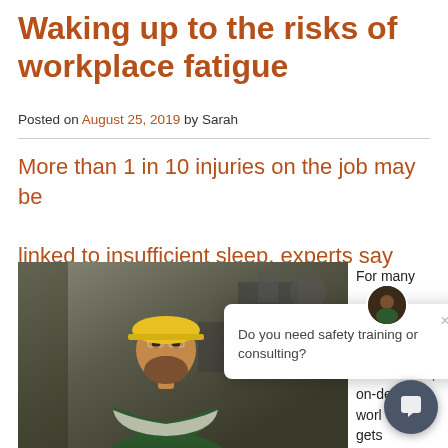Waking up to the risks of workplace fatigue
Posted on August 25, 2019 by Sarah
More than 1 in 10 injuries on the job may be linked to insufficient sleep, experts say
[Figure (photo): Worker in a yellow hard hat and safety glasses standing with arms crossed in an industrial workplace]
Image: kali9/iStockphoto
For many
life in a 24/7, on-de world gets
Do you need safety training or consulting?